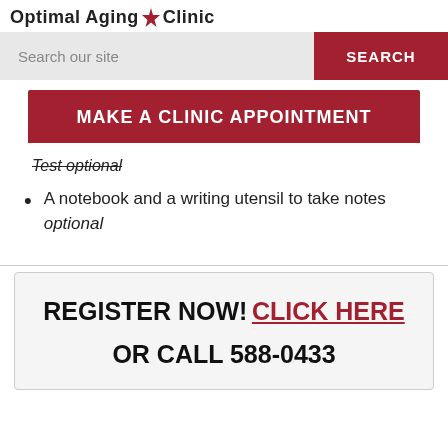Optimal Aging Clinic
Search our site
MAKE A CLINIC APPOINTMENT
Test optional
A notebook and a writing utensil to take notes optional
REGISTER NOW! CLICK HERE OR CALL 588-0433